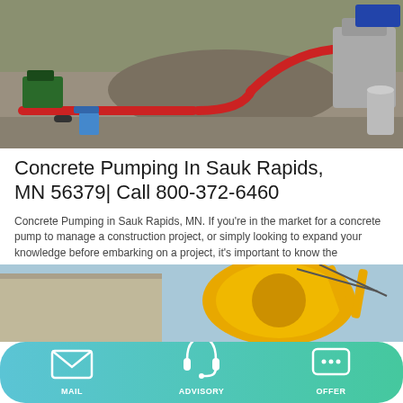[Figure (photo): Construction site photo showing red concrete pump pipes laid on gravel ground with pump machinery and barrels in background]
Concrete Pumping In Sauk Rapids, MN 56379| Call 800-372-6460
Concrete Pumping in Sauk Rapids, MN. If you're in the market for a concrete pump to manage a construction project, or simply looking to expand your knowledge before embarking on a project, it's important to know the differences in designs, how they perform, and find which is perfect for your needs.
[Figure (other): Button labeled Learn More with teal/cyan background]
[Figure (photo): Partial photo of yellow concrete pump machinery against building and sky]
MAIL  ADVISORY  OFFER